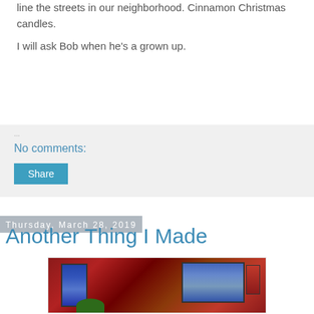line the streets in our neighborhood. Cinnamon Christmas candles.
I will ask Bob when he's a grown up.
No comments:
Share
Thursday, March 28, 2019
Another Thing I Made
[Figure (photo): Open art journal or handmade book with colorful mixed-media pages, featuring blue rectangular panels with text/patterns on a red textured background with stitching details and green leaf elements at the bottom.]